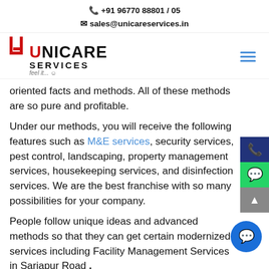+91 96770 88801 / 05
sales@unicareservices.in
[Figure (logo): Unicare Services logo with red and black lettering and tagline 'feel it...']
oriented facts and methods. All of these methods are so pure and profitable.
Under our methods, you will receive the following features such as M&E services, security services, pest control, landscaping, property management services, housekeeping services, and disinfection services. We are the best franchise with so many possibilities for your company.
People follow unique ideas and advanced methods so that they can get certain modernized services including Facility Management Services in Sarjapur Road .